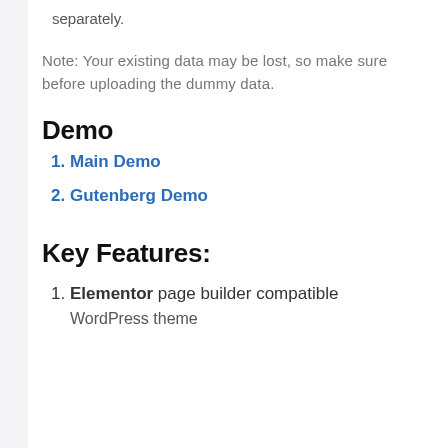separately.
Note: Your existing data may be lost, so make sure before uploading the dummy data.
Demo
Main Demo
Gutenberg Demo
Key Features:
Elementor page builder compatible WordPress theme